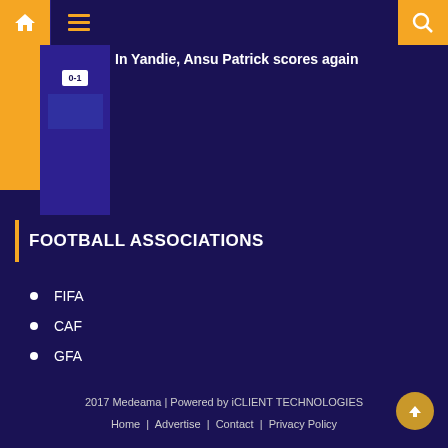Navigation bar with home, menu, and search icons
[Figure (screenshot): Article thumbnail showing a football score 0-1 on a dark blue/purple background with yellow accent sidebar]
In Yandie, Ansu Patrick scores again
FOOTBALL ASSOCIATIONS
FIFA
CAF
GFA
2017 Medeama | Powered by iCLIENT TECHNOLOGIES
Home | Advertise | Contact | Privacy Policy